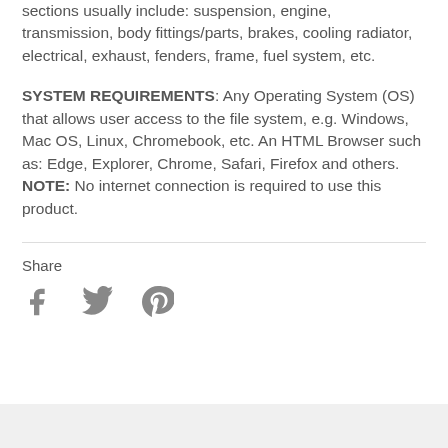sections usually include: suspension, engine, transmission, body fittings/parts, brakes, cooling radiator, electrical, exhaust, fenders, frame, fuel system, etc.
SYSTEM REQUIREMENTS: Any Operating System (OS) that allows user access to the file system, e.g. Windows, Mac OS, Linux, Chromebook, etc. An HTML Browser such as: Edge, Explorer, Chrome, Safari, Firefox and others. NOTE: No internet connection is required to use this product.
Share
[Figure (infographic): Social sharing icons: Facebook (f), Twitter (bird), Pinterest (p)]